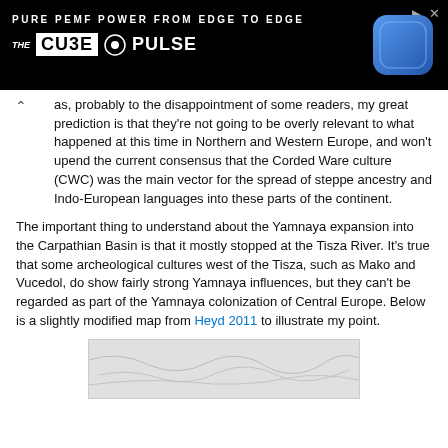[Figure (other): Advertisement banner: 'PURE PEMF POWER FROM EDGE TO EDGE — THE CUBE PULSE' on black background with blue device image]
as, probably to the disappointment of some readers, my great prediction is that they're not going to be overly relevant to what happened at this time in Northern and Western Europe, and won't upend the current consensus that the Corded Ware culture (CWC) was the main vector for the spread of steppe ancestry and Indo-European languages into these parts of the continent.
The important thing to understand about the Yamnaya expansion into the Carpathian Basin is that it mostly stopped at the Tisza River. It's true that some archeological cultures west of the Tisza, such as Mako and Vucedol, do show fairly strong Yamnaya influences, but they can't be regarded as part of the Yamnaya colonization of Central Europe. Below is a slightly modified map from Heyd 2011 to illustrate my point.
[Figure (map): Partially visible map illustration, appears to be a geographic/archaeological map]